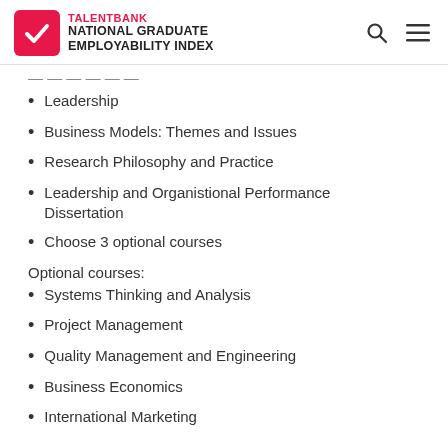TALENTBANK NATIONAL GRADUATE EMPLOYABILITY INDEX
Leadership
Business Models: Themes and Issues
Research Philosophy and Practice
Leadership and Organistional Performance Dissertation
Choose 3 optional courses
Optional courses:
Systems Thinking and Analysis
Project Management
Quality Management and Engineering
Business Economics
International Marketing